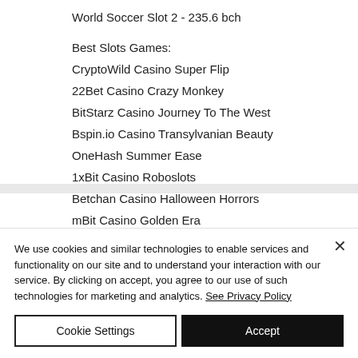World Soccer Slot 2 - 235.6 bch
Best Slots Games:
CryptoWild Casino Super Flip
22Bet Casino Crazy Monkey
BitStarz Casino Journey To The West
Bspin.io Casino Transylvanian Beauty
OneHash Summer Ease
1xBit Casino Roboslots
Betchan Casino Halloween Horrors
mBit Casino Golden Era
We use cookies and similar technologies to enable services and functionality on our site and to understand your interaction with our service. By clicking on accept, you agree to our use of such technologies for marketing and analytics. See Privacy Policy